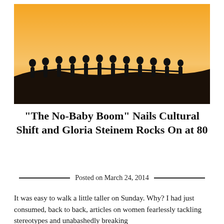[Figure (photo): Silhouettes of a group of women holding hands in a line against an orange sunset sky, standing on a dark hill]
“The No-Baby Boom” Nails Cultural Shift and Gloria Steinem Rocks On at 80
Posted on March 24, 2014
It was easy to walk a little taller on Sunday. Why? I had just consumed, back to back, articles on women fearlessly tackling stereotypes and unabashedly breaking